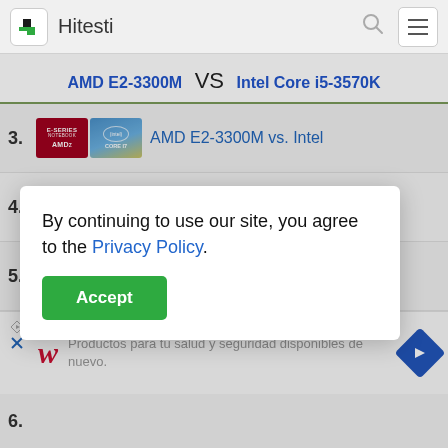Hitesti
AMD E2-3300M VS Intel Core i5-3570K
3. AMD E2-3300M vs. Intel
By continuing to use our site, you agree to the Privacy Policy.
4.
5. AMD E2-3300M vs. Intel
[Figure (screenshot): Advertisement: Walgreens - Productos para tu salud y seguridad disponibles de nuevo.]
6.